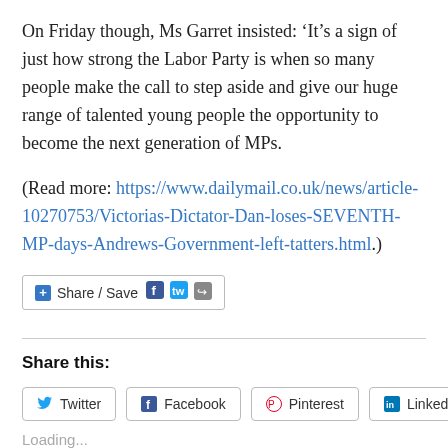On Friday though, Ms Garret insisted: ‘It’s a sign of just how strong the Labor Party is when so many people make the call to step aside and give our huge range of talented young people the opportunity to become the next generation of MPs.
(Read more: https://www.dailymail.co.uk/news/article-10270753/Victorias-Dictator-Dan-loses-SEVENTH-MP-days-Andrews-Government-left-tatters.html.)
[Figure (other): Share/Save button bar with Facebook and Twitter icons]
Share this:
Twitter  Facebook  Pinterest  LinkedIn
Loading...